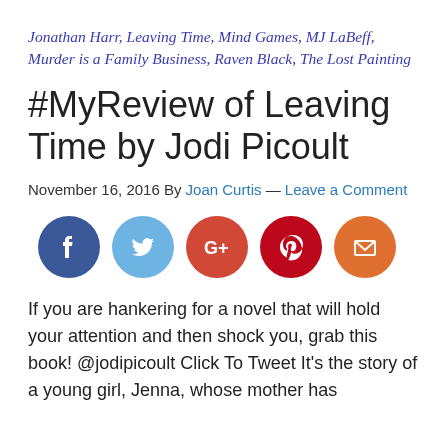Jonathan Harr, Leaving Time, Mind Games, MJ LaBeff, Murder is a Family Business, Raven Black, The Lost Painting
#MyReview of Leaving Time by Jodi Picoult
November 16, 2016 By Joan Curtis — Leave a Comment
[Figure (infographic): Five social sharing buttons: Facebook (dark blue circle), Twitter (light blue circle), Google+ (orange-red circle), Pinterest (dark red circle), Email (orange circle)]
If you are hankering for a novel that will hold your attention and then shock you, grab this book! @jodipicoult Click To Tweet It’s the story of a young girl, Jenna, whose mother has